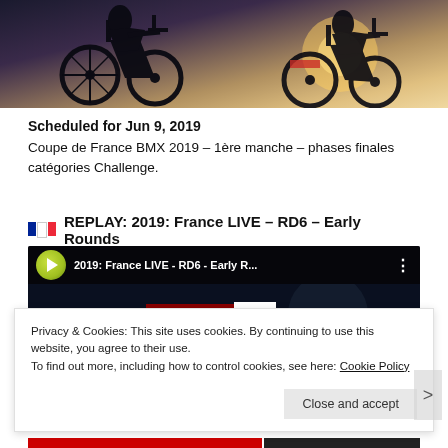[Figure (photo): Silhouette of BMX bikes against a bright sky, partial view at top]
Scheduled for Jun 9, 2019
Coupe de France BMX 2019 – 1ère manche – phases finales catégories Challenge.
🇫🇷 REPLAY: 2019: France LIVE – RD6 – Early Rounds
[Figure (screenshot): YouTube video thumbnail for '2019: France LIVE - RD6 - Early R...' showing ROUND 6 EARLY ROUNDS overlay with play button]
Privacy & Cookies: This site uses cookies. By continuing to use this website, you agree to their use.
To find out more, including how to control cookies, see here: Cookie Policy
Close and accept